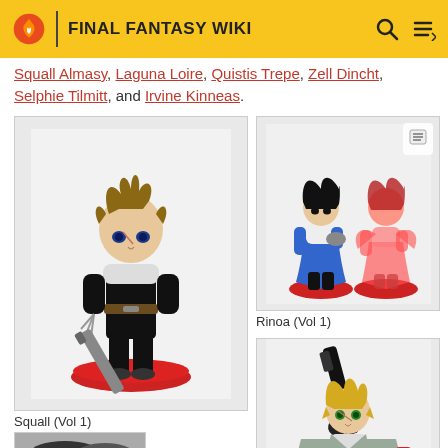FINAL FANTASY WIKI
Squall Almasy, Laguna Loire, Quistis Trepe, Zell Dincht, Selphie Tilmitt, and Irvine Kinneas.
[Figure (photo): Squall Leonhart chibi figure (Vol 1), black outfit with gunblade, standing on red base]
Squall (Vol 1)
[Figure (photo): Rinoa Heartilly chibi figure (Vol 1), two versions: normal blue dress and red translucent variant, both on red bases]
Rinoa (Vol 1)
[Figure (photo): Partial view of another Final Fantasy VIII chibi figure with large sword and blonde hair, grey jacket]